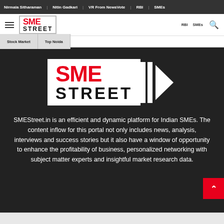Nirmala Sitharaman | Nitin Gadkari | VR From NewsVote | RBI | SMEs | Stock Market | Top Noida
[Figure (logo): SME Street logo in header — red SME text and black STREET text in a bordered box]
[Figure (logo): Large SME Street logo on dark background — red SME, black STREET, with double arrow play icon to the right]
SMEStreet.in is an efficient and dynamic platform for Indian SMEs. The content inflow for this portal not only includes news, analysis, interviews and success stories but it also have a window of opportunity to enhance the profitability of business, personalized networking with subject matter experts and insightful market research data.